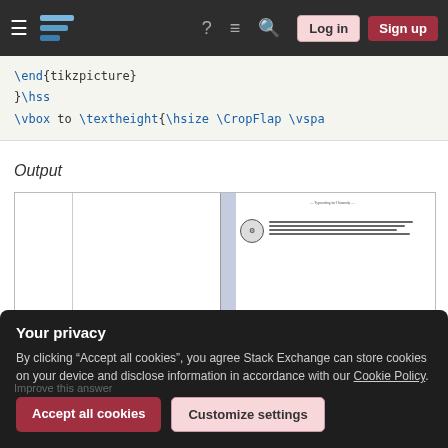Stack Exchange navigation bar with hamburger menu, logo, help, chat, search, Log in, Sign up
\end{tikzpicture}
}\hss
\vbox to \textheight{\hsize \CropFlap \vspa
Output
[Figure (screenshot): A document preview showing a two-page spread. The left side has two columns separated by a vertical line. The right side shows a page with a centered title line, a circular seal/logo, and several lines of text arranged beside the seal.]
Your privacy
By clicking “Accept all cookies”, you agree Stack Exchange can store cookies on your device and disclose information in accordance with our Cookie Policy.
Accept all cookies
Customize settings
Improve this answer